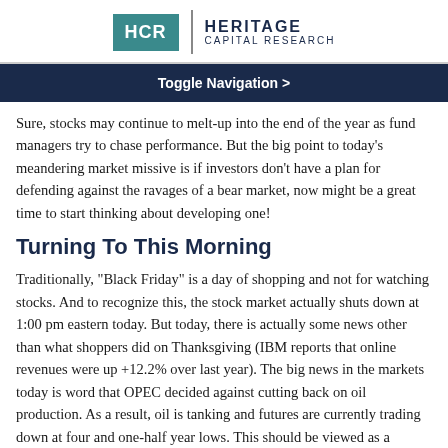[Figure (logo): Heritage Capital Research logo with teal HCR box and dark navy text]
Toggle Navigation >
Sure, stocks may continue to melt-up into the end of the year as fund managers try to chase performance. But the big point to today's meandering market missive is if investors don't have a plan for defending against the ravages of a bear market, now might be a great time to start thinking about developing one!
Turning To This Morning
Traditionally, "Black Friday" is a day of shopping and not for watching stocks. And to recognize this, the stock market actually shuts down at 1:00 pm eastern today. But today, there is actually some news other than what shoppers did on Thanksgiving (IBM reports that online revenues were up +12.2% over last year). The big news in the markets today is word that OPEC decided against cutting back on oil production. As a result, oil is tanking and futures are currently trading down at four and one-half year lows. This should be viewed as a positive for the U.S. as the dive in gasoline prices